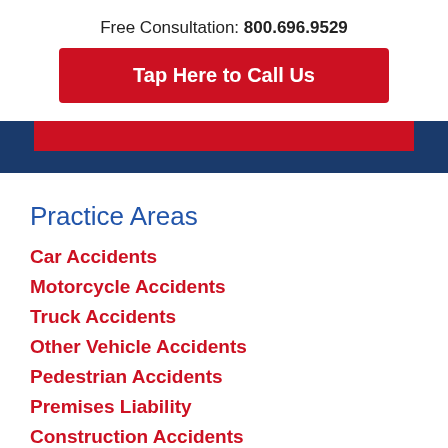Free Consultation: 800.696.9529
Tap Here to Call Us
Practice Areas
Car Accidents
Motorcycle Accidents
Truck Accidents
Other Vehicle Accidents
Pedestrian Accidents
Premises Liability
Construction Accidents